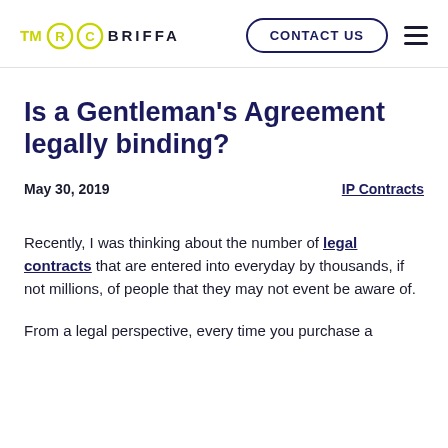TM ® © BRIFFA | CONTACT US
Is a Gentleman's Agreement legally binding?
May 30, 2019   IP Contracts
Recently, I was thinking about the number of legal contracts that are entered into everyday by thousands, if not millions, of people that they may not event be aware of.
From a legal perspective, every time you purchase a